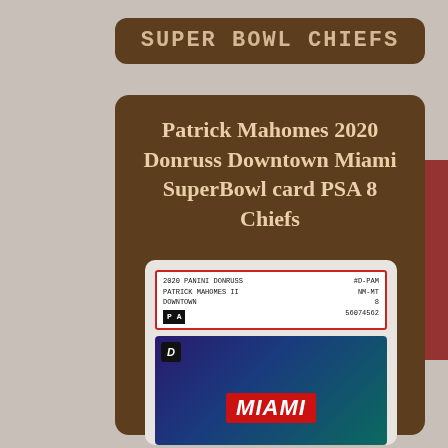Super Bowl Chiefs
Patrick Mahomes 2020 Donruss Downtown Miami SuperBowl card PSA 8 Chiefs
[Figure (photo): PSA graded trading card showing Patrick Mahomes 2020 Panini Donruss Downtown card, PSA grade NM-MT 8, certification number 56074562, card number #D-PAM, showing a football action scene with Miami logo]